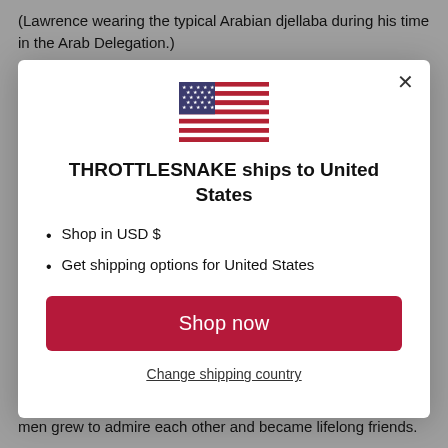(Lawrence wearing the typical Arabian djellaba during his time in the Arab Delegation.)
[Figure (screenshot): Modal dialog showing US flag, THROTTLESNAKE ships to United States message, bullet points for USD and shipping options, Shop now button, and Change shipping country link]
men grew to admire each other and became lifelong friends.